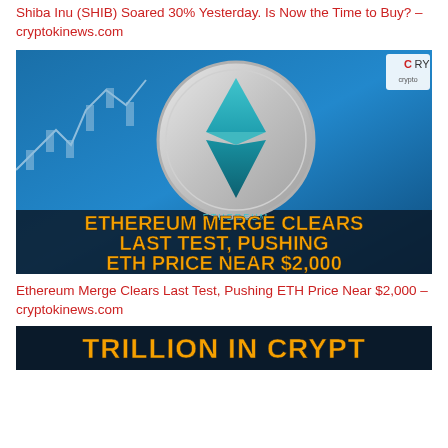Shiba Inu (SHIB) Soared 30% Yesterday. Is Now the Time to Buy? – cryptokinews.com
[Figure (photo): Ethereum Merge Clears Last Test, Pushing ETH Price Near $2,000 – article thumbnail image showing a silver Ethereum coin on blue background with bold orange text overlay reading ETHEREUM MERGE CLEARS LAST TEST, PUSHING ETH PRICE NEAR $2,000, and a CRY logo in top right corner]
Ethereum Merge Clears Last Test, Pushing ETH Price Near $2,000 – cryptokinews.com
[Figure (photo): Partial view of another article thumbnail with orange bold text partially visible, appears to read TRILLION IN CRYPT]